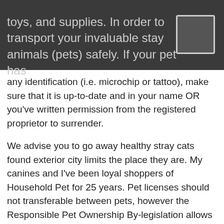toys, and supplies. In order to transport your invaluable stay animals (pets) safely. If your pet has any identification (i.e. microchip or tattoo), make sure that it is up-to-date and in your name OR you've written permission from the registered proprietor to surrender.
We advise you to go away healthy stray cats found exterior city limits the place they are. My canines and I've been loyal shoppers of Household Pet for 25 years. Pet licenses should not transferable between pets, however the Responsible Pet Ownership By-legislation allows a change of ownership of a pet license through the license yr.
Since, earlier than being out there for adoption, that the shelter can reinstate the placement of the pet by d...